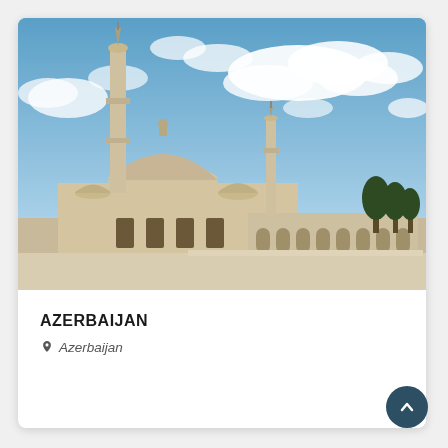[Figure (photo): Photograph of a mosque complex in Azerbaijan featuring two tall minarets, a domed mosque building, and a long colonnaded arcade courtyard under a partly cloudy blue sky. The architecture is built in cream/beige stone.]
AZERBAIJAN
Azerbaijan